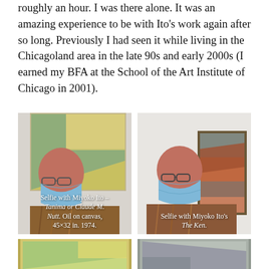roughly an hour. I was there alone. It was an amazing experience to be with Ito's work again after so long. Previously I had seen it while living in the Chicagoland area in the late 90s and early 2000s (I earned my BFA at the School of the Art Institute of Chicago in 2001).
[Figure (photo): Selfie of a person wearing a blue medical mask standing in front of Miyoko Ito painting Tanima or Claude M. Nutt. Oil on canvas, 45x32 in. 1974. Caption text overlaid on photo.]
[Figure (photo): Selfie of a person wearing a blue medical mask standing in front of Miyoko Ito's painting The Ken. Caption text overlaid on photo.]
[Figure (photo): Partial view of a framed Miyoko Ito painting with light greenish-yellow tones, bottom portion of page.]
[Figure (photo): Partial view of a framed Miyoko Ito painting with muted blue-grey tones, bottom portion of page.]